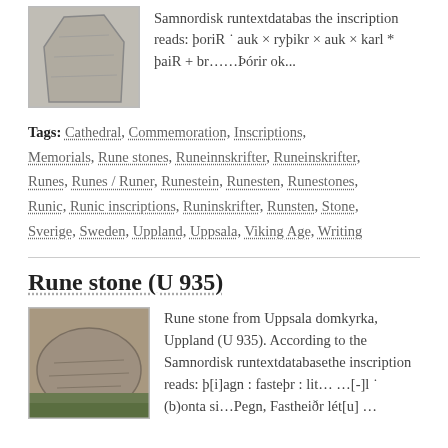[Figure (photo): Photograph of a rune stone, granite-colored, standing upright against a light background]
Samnordisk runtextdatabas the inscription reads: þoriR ˙ auk × ryþikr × auk × karl * þaiR + br……Þórir ok...
Tags: Cathedral, Commemoration, Inscriptions, Memorials, Rune stones, Runeinnskrifter, Runeinskrifter, Runes, Runes / Runer, Runestein, Runesten, Runestones, Runic, Runic inscriptions, Runinskrifter, Runsten, Stone, Sverige, Sweden, Uppland, Uppsala, Viking Age, Writing
Rune stone (U 935)
[Figure (photo): Photograph of a rounded rune stone lying on green grass near a brick wall]
Rune stone from Uppsala domkyrka, Uppland (U 935). According to theSamnordisk runtextdatabasethe inscription reads: þ[i]agn : fasteþr : lit… …[-]l ˙ (b)onta si…Pegn, Fastheiðr lét[u] …